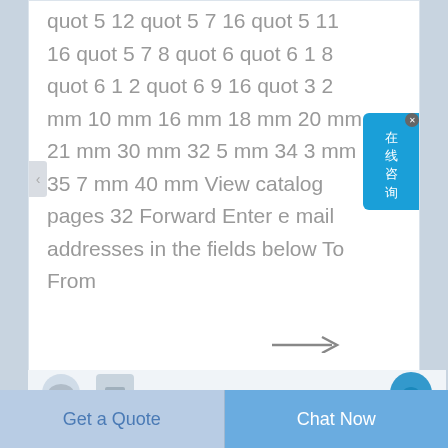quot 5 12 quot 5 7 16 quot 5 11 16 quot 5 7 8 quot 6 quot 6 1 8 quot 6 1 2 quot 6 9 16 quot 3 2 mm 10 mm 16 mm 18 mm 20 mm 21 mm 30 mm 32 5 mm 34 3 mm 35 7 mm 40 mm View catalog pages 32 Forward Enter e mail addresses in the fields below To From
[Figure (screenshot): Chinese online chat widget button (在线咨询) in blue, positioned at top right]
[Figure (illustration): Navigation arrow pointing right at bottom of page content area]
[Figure (screenshot): Bottom thumbnail row showing partial product images and a blue circular button]
Get a Quote
Chat Now